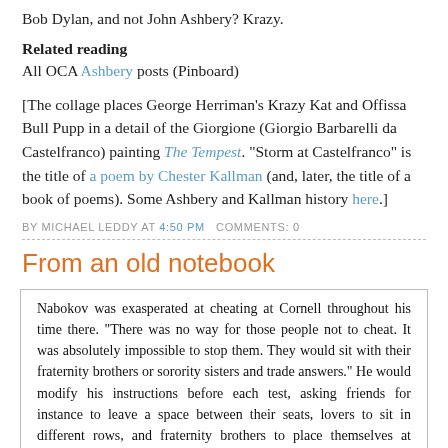Bob Dylan, and not John Ashbery? Krazy.
Related reading
All OCA Ashbery posts (Pinboard)
[The collage places George Herriman's Krazy Kat and Offissa Bull Pupp in a detail of the Giorgione (Giorgio Barbarelli da Castelfranco) painting The Tempest. "Storm at Castelfranco" is the title of a poem by Chester Kallman (and, later, the title of a book of poems). Some Ashbery and Kallman history here.]
BY MICHAEL LEDDY AT 4:50 PM   COMMENTS: 0
From an old notebook
Nabokov was exasperated at cheating at Cornell throughout his time there. "There was no way for those people not to cheat. It was absolutely impossible to stop them. They would sit with their fraternity brothers or sorority sisters and trade answers." He would modify his instructions before each test, asking friends for instance to leave a space between their seats, lovers to sit in different rows, and fraternity brothers to place themselves at "diagonally opposite ends